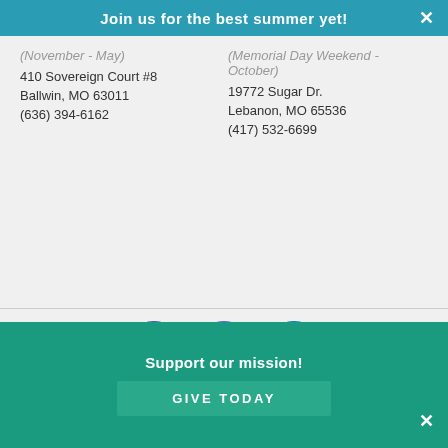Join us for the best summer yet!
(November - May)
410 Sovereign Court #8
Ballwin, MO 63011
(636) 394-6162
(Memorial Day Weekend - October)
19772 Sugar Dr.
Lebanon, MO 65536
(417) 532-6699
[Figure (illustration): Social media icons: Facebook (blue circle), Instagram (gradient circle), LinkedIn (blue circle)]
© 2022 CedarS Camps. All Rights Reserved.
St. Louis Web Design by IQComputing
Support our mission!
Give Today